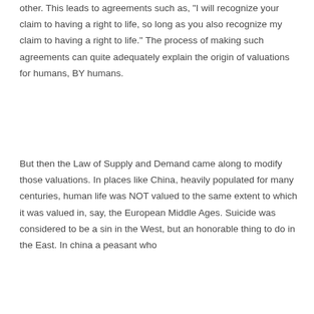other. This leads to agreements such as, "I will recognize your claim to having a right to life, so long as you also recognize my claim to having a right to life." The process of making such agreements can quite adequately explain the origin of valuations for humans, BY humans.
But then the Law of Supply and Demand came along to modify those valuations. In places like China, heavily populated for many centuries, human life was NOT valued to the same extent to which it was valued in, say, the European Middle Ages. Suicide was considered to be a sin in the West, but an honorable thing to do in the East. In china a peasant who